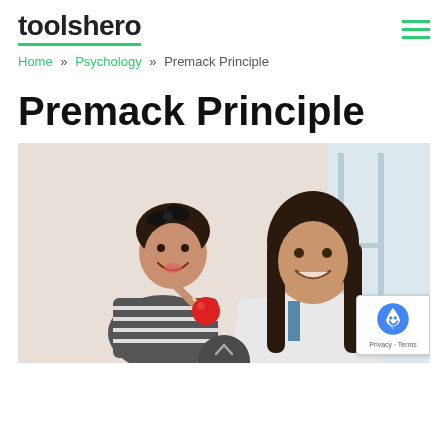toolshero
Home » Psychology » Premack Principle
Premack Principle
[Figure (photo): A smiling young woman in a white coat holds a small laughing girl who is eating a red lollipop. The background is a bright indoor setting.]